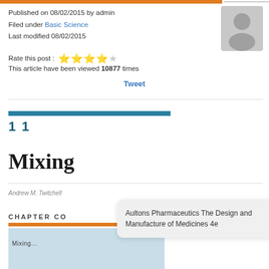Published on 08/02/2015 by admin
Filed under Basic Science
Last modified 08/02/2015
Rate this post : ★★★★☆
This article have been viewed 10877 times
Tweet
1 1
Mixing
Andrew M. Twitchell
CHAPTER CO
Aultons Pharmaceutics The Design and Manufacture of Medicines 4e